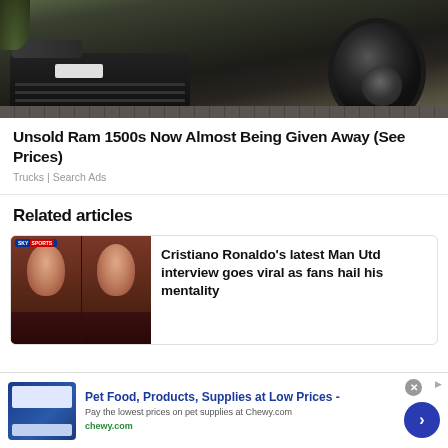[Figure (photo): Front view of a dark green/black Ram 1500 pickup truck showing grille and large off-road tire on cobblestone surface]
Unsold Ram 1500s Now Almost Being Given Away (See Prices)
Trucks | Search Ads
Related articles
[Figure (photo): Two side-by-side images of Cristiano Ronaldo being interviewed, with Sky Sports logo visible]
Cristiano Ronaldo's latest Man Utd interview goes viral as fans hail his mentality
Pet Food, Products, Supplies at Low Prices -
Pay the lowest prices on pet supplies at Chewy.com
chewy.com